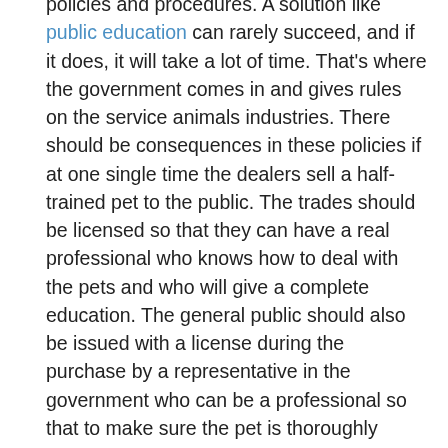policies and procedures. A solution like public education can rarely succeed, and if it does, it will take a lot of time. That's where the government comes in and gives rules on the service animals industries. There should be consequences in these policies if at one single time the dealers sell a half-trained pet to the public. The trades should be licensed so that they can have a real professional who knows how to deal with the pets and who will give a complete education. The general public should also be issued with a license during the purchase by a representative in the government who can be a professional so that to make sure the pet is thoroughly trained and ready for any service.
If there are a surplus of fake service animals, there can be very many related problems (McNary, 15). One of the common ones is the accidental injuries. If a pet like a dog is not well trained, it is aggressive. If there is a new person in the compound who can be a friend and the owner is not around, the guy can suffer from injuries or even death. There can be expenses incurred which are expensive to cater. The relationship between the dog owner and the community reduces because of the losses brought up by the